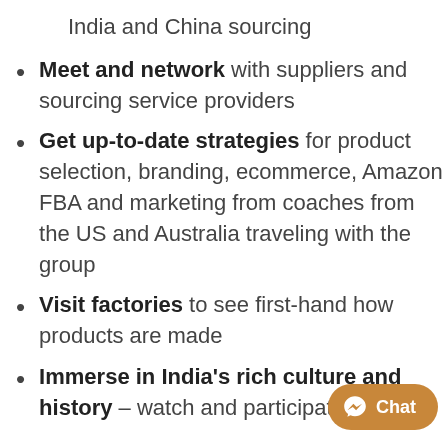India and China sourcing
Meet and network with suppliers and sourcing service providers
Get up-to-date strategies for product selection, branding, ecommerce, Amazon FBA and marketing from coaches from the US and Australia traveling with the group
Visit factories to see first-hand how products are made
Immerse in India’s rich culture and history – watch and participate in an